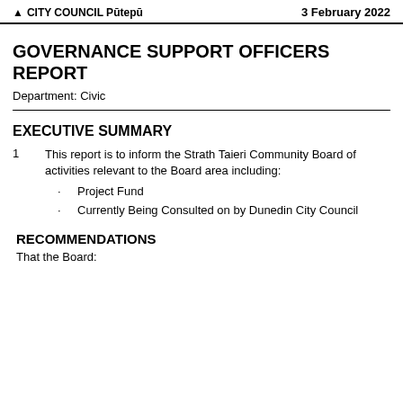CITY COUNCIL Pūtepū | 3 February 2022
GOVERNANCE SUPPORT OFFICERS REPORT
Department: Civic
EXECUTIVE SUMMARY
1   This report is to inform the Strath Taieri Community Board of activities relevant to the Board area including:
· Project Fund
· Currently Being Consulted on by Dunedin City Council
RECOMMENDATIONS
That the Board: